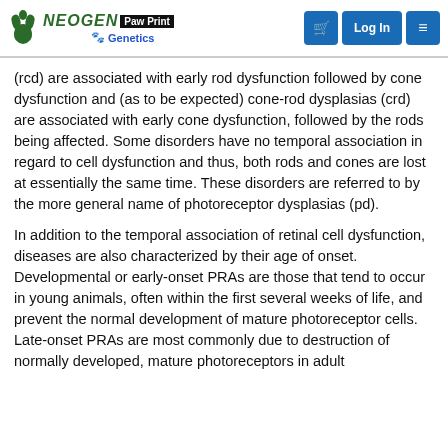NEOGEN Paw Print Genetics | Log In
(rcd) are associated with early rod dysfunction followed by cone dysfunction and (as to be expected) cone-rod dysplasias (crd) are associated with early cone dysfunction, followed by the rods being affected. Some disorders have no temporal association in regard to cell dysfunction and thus, both rods and cones are lost at essentially the same time. These disorders are referred to by the more general name of photoreceptor dysplasias (pd).
In addition to the temporal association of retinal cell dysfunction, diseases are also characterized by their age of onset. Developmental or early-onset PRAs are those that tend to occur in young animals, often within the first several weeks of life, and prevent the normal development of mature photoreceptor cells. Late-onset PRAs are most commonly due to destruction of normally developed, mature photoreceptors in adult